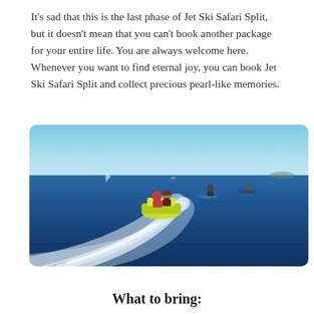It's sad that this is the last phase of Jet Ski Safari Split, but it doesn't mean that you can't book another package for your entire life. You are always welcome here. Whenever you want to find eternal joy, you can book Jet Ski Safari Split and collect precious pearl-like memories.
[Figure (photo): A group of people riding jet skis on a bright blue ocean, viewed from behind. The foreground jet ski carries two riders and is a vivid yellow-green color, with white wake trailing behind. Additional jet skis are visible in the mid-distance, and the background shows a clear blue sky and sea horizon.]
What to bring: